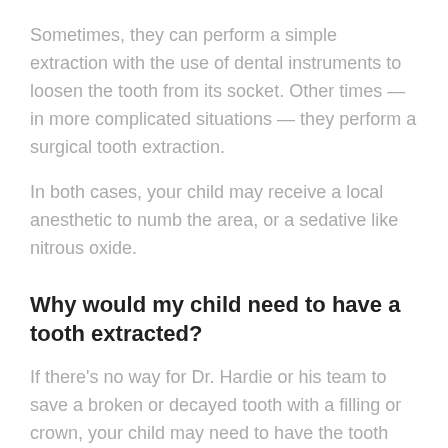Sometimes, they can perform a simple extraction with the use of dental instruments to loosen the tooth from its socket. Other times — in more complicated situations — they perform a surgical tooth extraction.
In both cases, your child may receive a local anesthetic to numb the area, or a sedative like nitrous oxide.
Why would my child need to have a tooth extracted?
If there's no way for Dr. Hardie or his team to save a broken or decayed tooth with a filling or crown, your child may need to have the tooth extracted./p>